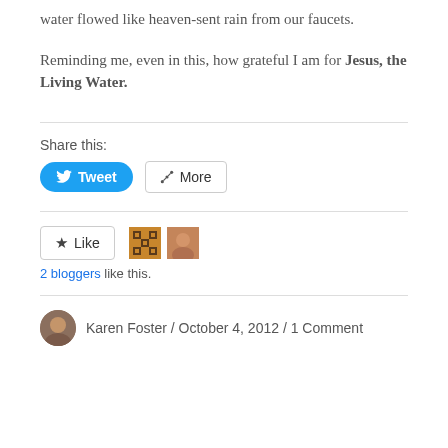water flowed like heaven-sent rain from our faucets.
Reminding me, even in this, how grateful I am for Jesus, the Living Water.
Share this:
[Figure (screenshot): Tweet and More share buttons]
[Figure (screenshot): Like button with 2 blogger avatars and '2 bloggers like this.' text]
Karen Foster / October 4, 2012 / 1 Comment